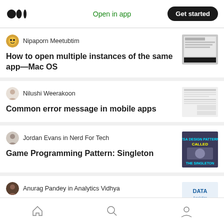Medium — Open in app | Get started
Nipaporn Meetubtim
How to open multiple instances of the same app—Mac OS
Nilushi Weerakoon
Common error message in mobile apps
Jordan Evans in Nerd For Tech
Game Programming Pattern: Singleton
Anurag Pandey in Analytics Vidhya
Home | Search | Profile